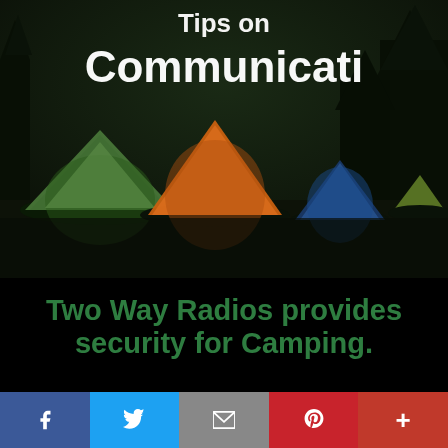Communicati
[Figure (photo): Night camping scene with multiple colorful tents (green, orange, blue) illuminated from inside, set against a dark forest background. A large red semi-circle SALE badge overlays the right side of the image.]
Two Way Radios provides security for Camping.
Camping sometimes loses cell phone signal, especially when you
f  [Twitter bird]  [envelope]  p  +